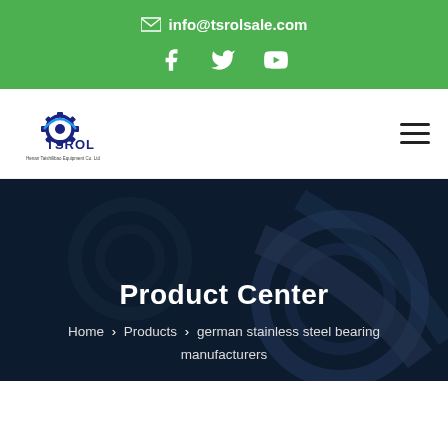✉ info@tsrolsale.com
[Figure (logo): TSROL logo with gear icon and text 'TSROL, Henan Taishilibao Equipment Co. Ltd']
Product Center
Home > Products > german stainless steel bearing manufacturers